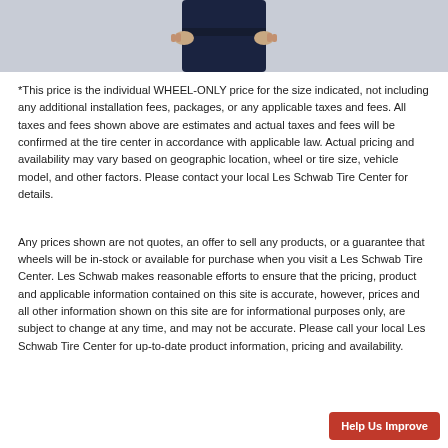[Figure (photo): Cropped photo showing the torso and hands of a person wearing dark navy coveralls or work pants, hands on hips, against a light gray/white background.]
*This price is the individual WHEEL-ONLY price for the size indicated, not including any additional installation fees, packages, or any applicable taxes and fees. All taxes and fees shown above are estimates and actual taxes and fees will be confirmed at the tire center in accordance with applicable law. Actual pricing and availability may vary based on geographic location, wheel or tire size, vehicle model, and other factors. Please contact your local Les Schwab Tire Center for details.
Any prices shown are not quotes, an offer to sell any products, or a guarantee that wheels will be in-stock or available for purchase when you visit a Les Schwab Tire Center. Les Schwab makes reasonable efforts to ensure that the pricing, product and applicable information contained on this site is accurate, however, prices and all other information shown on this site are for informational purposes only, are subject to change at any time, and may not be accurate. Please call your local Les Schwab Tire Center for up-to-date product information, pricing and availability.